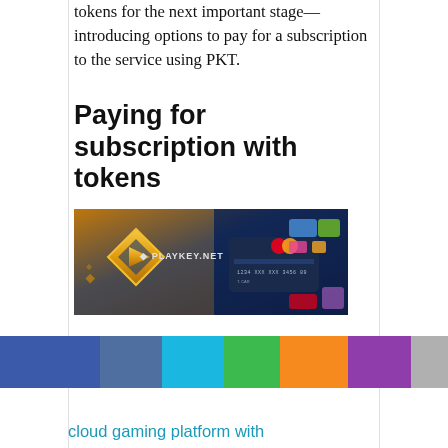tokens for the next important stage—introducing options to pay for a subscription to the service using PKT.
Paying for subscription with tokens
[Figure (photo): Playkey.net promotional image showing a diamond-shaped golden logo on a dark background with a Mastercard credit card displayed on the right side]
Just half a year after the ICO ended, in June 2018,
cloud gaming platform with